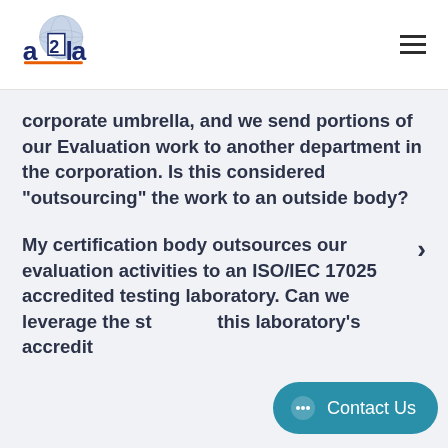A2LA logo and navigation
corporate umbrella, and we send portions of our Evaluation work to another department in the corporation. Is this considered “outsourcing” the work to an outside body?
My certification body outsources our evaluation activities to an ISO/IEC 17025 accredited testing laboratory. Can we leverage the status of this laboratory’s accreditation for our...